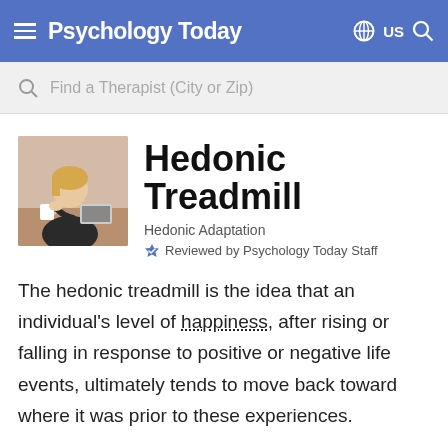Psychology Today
Find a Therapist (City or Zip)
Hedonic Treadmill
Hedonic Adaptation
Reviewed by Psychology Today Staff
The hedonic treadmill is the idea that an individual's level of happiness, after rising or falling in response to positive or negative life events, ultimately tends to move back toward where it was prior to these experiences.
One's baseline level of well-being, or "set point," is